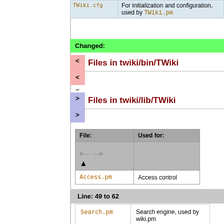| TWiki.cfg | Used for: |
| --- | --- |
| TWiki.cfg | For initialization and configuration, used by TWiki.pm |
Changed:
Files in twiki/bin/TWiki
Files in twiki/lib/TWiki
| File: | Used for: |
| --- | --- |
| Access.pm | Access control |
Line: 49 to 62
| File: | Used for: |
| --- | --- |
| Search.pm | Search engine, used by wiki.pm |
| Store.pm | Back-end storage, *.txt text file and *.txt,v RCS repository file handling |
Changed: